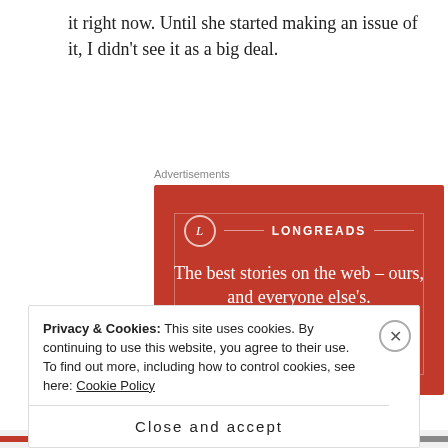it right now. Until she started making an issue of it, I didn't see it as a big deal.
[Figure (other): Longreads advertisement banner with red background. Logo with 'L' in a circle, brand name 'LONGREADS', headline 'The best stories on the web – ours, and everyone else's.', and a black 'Start reading' button.]
Privacy & Cookies: This site uses cookies. By continuing to use this website, you agree to their use.
To find out more, including how to control cookies, see here: Cookie Policy
Close and accept